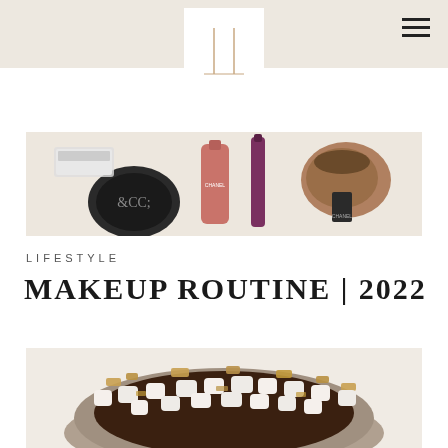[Figure (logo): Monogram logo with two vertical lines and a horizontal baseline, displayed in a white box over a beige header bar]
[Figure (photo): Makeup products including Chanel compact, blush, mascara, and a brush on a light beige background]
LIFESTYLE
MAKEUP ROUTINE | 2022
[Figure (photo): A bowl of chocolate dessert topped with marshmallows and crumbled graham crackers, resembling s'mores]